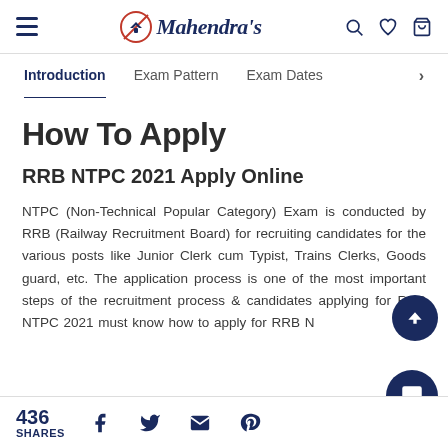Mahendra's — Navigation bar with hamburger menu, logo, search, wishlist, cart icons
Introduction | Exam Pattern | Exam Dates >
How To Apply
RRB NTPC 2021 Apply Online
NTPC (Non-Technical Popular Category) Exam is conducted by RRB (Railway Recruitment Board) for recruiting candidates for the various posts like Junior Clerk cum Typist, Trains Clerks, Goods guard, etc. The application process is one of the most important steps of the recruitment process & candidates applying for RRB NTPC 2021 must know how to apply for RRB N...
436 SHARES — Facebook, Twitter, Email, Pinterest share icons